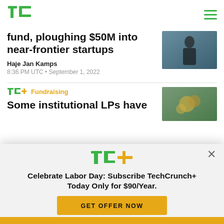TechCrunch logo and navigation
fund, ploughing $50M into near-frontier startups
Haje Jan Kamps
8:36 PM UTC • September 1, 2022
[Figure (photo): Person in dark clothing outdoors]
[Figure (photo): Money or financial imagery]
Fundraising
Some institutional LPs have
[Figure (infographic): TechCrunch+ subscription modal overlay with TC+ logo, headline 'Celebrate Labor Day: Subscribe TechCrunch+ Today Only for $90/Year.' and GET OFFER NOW button]